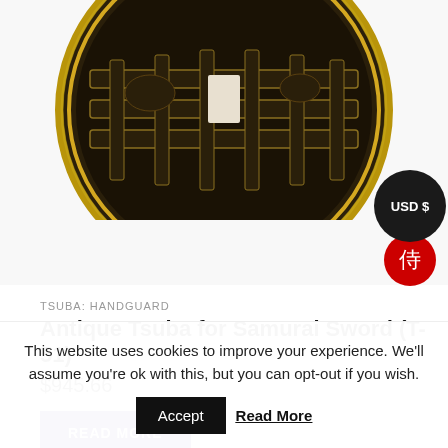[Figure (photo): Antique Japanese tsuba (sword handguard) — circular bronze/brass piece with openwork decorative design showing landscape with trees and clouds, with a central rectangular opening]
[Figure (infographic): USD $ currency badge (dark circle) with red samurai kanji circle below it, positioned top-right over the product image]
TSUBA: HANDGUARD
Antique Tsuba for Samurai Sword (T-51)
$945.66
READ MORE
This website uses cookies to improve your experience. We'll assume you're ok with this, but you can opt-out if you wish.
Accept
Read More